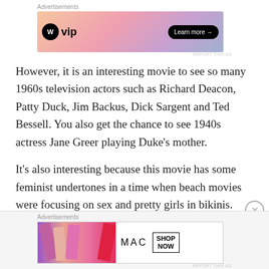Advertisements
[Figure (other): WordPress VIP advertisement banner with gradient orange/pink/purple background and 'Learn more' button]
However, it is an interesting movie to see so many 1960s television actors such as Richard Deacon, Patty Duck, Jim Backus, Dick Sargent and Ted Bessell. You also get the chance to see 1940s actress Jane Greer playing Duke's mother.
It's also interesting because this movie has some feminist undertones in a time when beach movies were focusing on sex and pretty girls in bikinis.
Advertisements
[Figure (other): MAC cosmetics advertisement with lipsticks and SHOP NOW call to action]